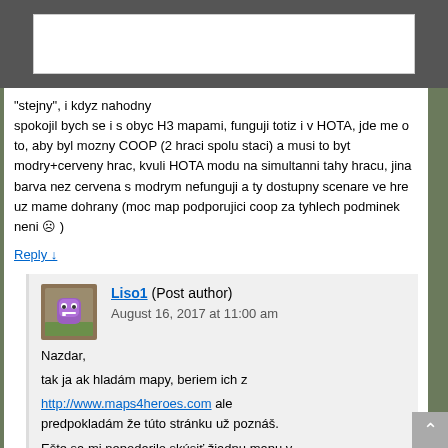“stejny”, i kdyz nahodny spokojil bych se i s obyc H3 mapami, funguji totiz i v HOTA, jde me o to, aby byl mozny COOP (2 hraci spolu staci) a musi to byt modry+cerveny hrac, kvuli HOTA modu na simultanni tahy hracu, jina barva nez cervena s modrym nefunguji a ty dostupny scenare ve hre uz mame dohrany (moc map podporujici coop za tyhlech podminek neni 🙁 )
Reply ↓
Liso1 (Post author)
August 16, 2017 at 11:00 am
Nazdar,
tak ja ak hladám mapy, beriem ich z
http://www.maps4heroes.com ale predpokládám že túto stránku už poznáš.
Ešte sa mi nepodarilo skúsſi žiadnu mapu v